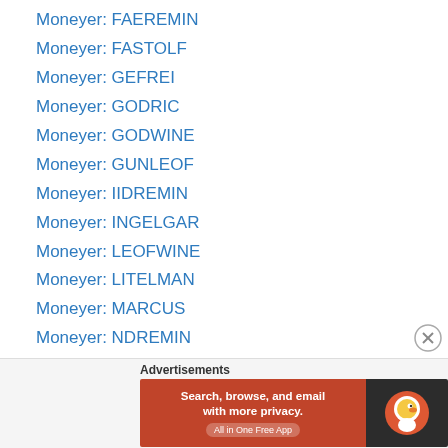Moneyer: FAEREMIN
Moneyer: FASTOLF
Moneyer: GEFREI
Moneyer: GODRIC
Moneyer: GODWINE
Moneyer: GUNLEOF
Moneyer: IIDREMIN
Moneyer: INGELGAR
Moneyer: LEOFWINE
Moneyer: LITELMAN
Moneyer: MARCUS
Moneyer: NDREMIN
Moneyer: NERINN
Moneyer: NERRNII
Moneyer: NICHOLAS
Moneyer: NORMAN
Advertisements
[Figure (screenshot): DuckDuckGo advertisement banner: 'Search, browse, and email with more privacy. All in One Free App' on orange background with DuckDuckGo logo on dark background.]